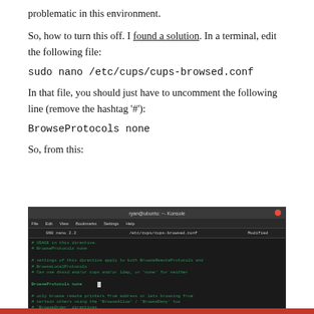problematic in this environment.
So, how to turn this off. I found a solution. In a terminal, edit the following file:
sudo nano /etc/cups/cups-browsed.conf
In that file, you should just have to uncomment the following line (remove the hashtag '#'):
BrowseProtocols none
So, from this:
[Figure (screenshot): Terminal window showing nano text editor open with /etc/cups/cups-browsed.conf file, displaying configuration lines including commented BrowseProtocols none and other directive lines in green text on dark background.]